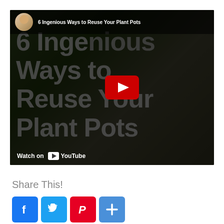[Figure (screenshot): YouTube video thumbnail for '6 Ingenious Ways to Reuse Your Plant Pots' showing a dark-tinted video frame with large overlaid title text, a YouTube play button in the center, and a Watch on YouTube bar at the bottom. A channel avatar and title appear at the top.]
Share This!
[Figure (infographic): Row of four social share buttons: Facebook (blue, f icon), Twitter (light blue, bird icon), Pinterest (red, P icon), and a blue plus/more button.]